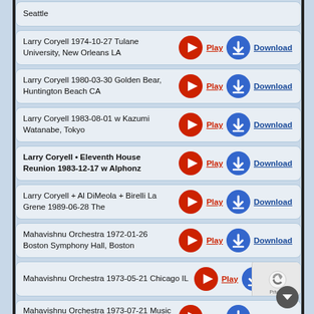Seattle
Larry Coryell 1974-10-27 Tulane University, New Orleans LA
Larry Coryell 1980-03-30 Golden Bear, Huntington Beach CA
Larry Coryell 1983-08-01 w Kazumi Watanabe, Tokyo
Larry Coryell • Eleventh House Reunion 1983-12-17 w Alphonz
Larry Coryell + Al DiMeola + Birelli La Grene 1989-06-28 The
Mahavishnu Orchestra 1972-01-26 Boston Symphony Hall, Boston
Mahavishnu Orchestra 1973-05-21 Chicago IL
Mahavishnu Orchestra 1973-07-21 Music Inn, Lenox MA